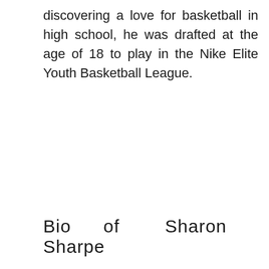discovering a love for basketball in high school, he was drafted at the age of 18 to play in the Nike Elite Youth Basketball League.
Bio of Sharon Sharpe